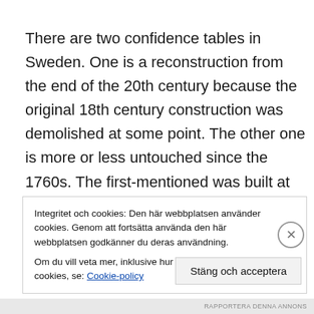There are two confidence tables in Sweden. One is a reconstruction from the end of the 20th century because the original 18th century construction was demolished at some point. The other one is more or less untouched since the 1760s. The first-mentioned was built at Ulriksdal Court Theater and was used for the first time in the autumn of 1754. (5) The other one is in a pavilion of its
Integritet och cookies: Den här webbplatsen använder cookies. Genom att fortsätta använda den här webbplatsen godkänner du deras användning.
Om du vill veta mer, inklusive hur du kontrollerar cookies, se: Cookie-policy
Stäng och acceptera
RAPPORTERA DENNA ANNONS